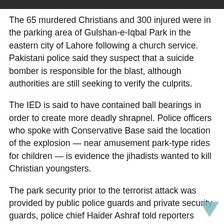The 65 murdered Christians and 300 injured were in the parking area of Gulshan-e-Iqbal Park in the eastern city of Lahore following a church service.  Pakistani police said they suspect that a suicide bomber is responsible for the blast, although authorities are still seeking to verify the culprits.
The IED is said to have contained ball bearings in order to create more deadly shrapnel. Police officers who spoke with Conservative Base said the location of the explosion — near amusement park-type rides for children — is evidence the jihadists wanted to kill Christian youngsters.
The park security prior to the terrorist attack was provided by public police guards and private security guards, police chief Haider Ashraf told reporters during a press briefing. “We are in a warlike situation and there is always a general threat, but no specific threat alert